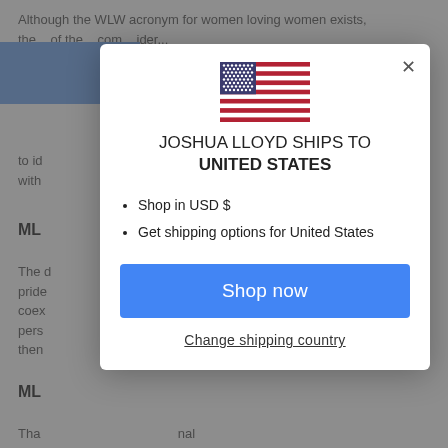Although the WLW acronym for women loving women exists, the...
to id... with...
ML...
The... pride... coex... pers... then...
ML...
The... 7... represent... represent community, inclusion, she/her and pronoun
[Figure (screenshot): Modal dialog for Joshua Lloyd shipping to United States. Contains a US flag, title 'JOSHUA LLOYD SHIPS TO UNITED STATES', two bullet points: 'Shop in USD $' and 'Get shipping options for United States', a blue 'Shop now' button, and a 'Change shipping country' link. An X close button is in the top-right corner.]
JOSHUA LLOYD SHIPS TO UNITED STATES
Shop in USD $
Get shipping options for United States
Shop now
Change shipping country